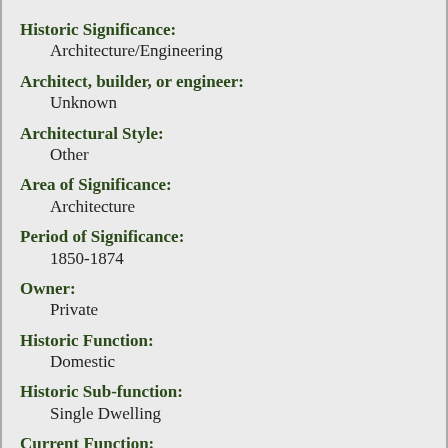Historic Significance: Architecture/Engineering
Architect, builder, or engineer: Unknown
Architectural Style: Other
Area of Significance: Architecture
Period of Significance: 1850-1874
Owner: Private
Historic Function: Domestic
Historic Sub-function: Single Dwelling
Current Function: Domestic